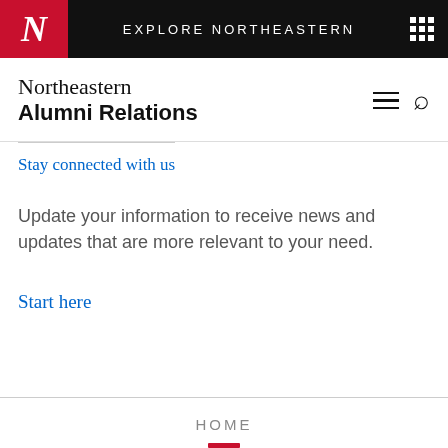EXPLORE NORTHEASTERN
Northeastern
Alumni Relations
Stay connected with us
Update your information to receive news and updates that are more relevant to your need.
Start here
HOME